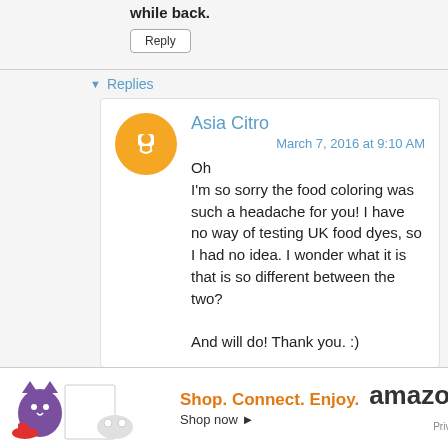while back.
Reply
Replies
Asia Citro
March 7, 2016 at 9:10 AM
Oh
I'm so sorry the food coloring was such a headache for you! I have no way of testing UK food dyes, so I had no idea. I wonder what it is that is so different between the two?

And will do! Thank you. :)
Reply
Shop. Connect. Enjoy. Shop now ▸ amazon Privacy